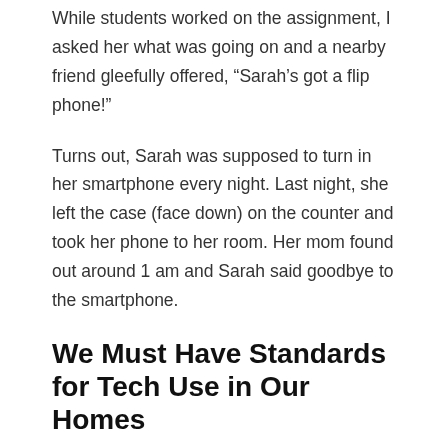While students worked on the assignment, I asked her what was going on and a nearby friend gleefully offered, “Sarah’s got a flip phone!”
Turns out, Sarah was supposed to turn in her smartphone every night. Last night, she left the case (face down) on the counter and took her phone to her room. Her mom found out around 1 am and Sarah said goodbye to the smartphone.
We Must Have Standards for Tech Use in Our Homes
To almost every middle school student, taking away their smartphone is the height of